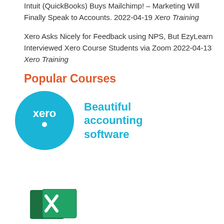Intuit (QuickBooks) Buys Mailchimp! – Marketing Will Finally Speak to Accounts. 2022-04-19 Xero Training
Xero Asks Nicely for Feedback using NPS, But EzyLearn Interviewed Xero Course Students via Zoom 2022-04-13 Xero Training
Popular Courses
[Figure (logo): Xero logo: blue circle with 'xero' text in white, alongside text 'Beautiful accounting software' in teal/cyan color]
[Figure (logo): Microsoft Excel logo partially visible at bottom of page]